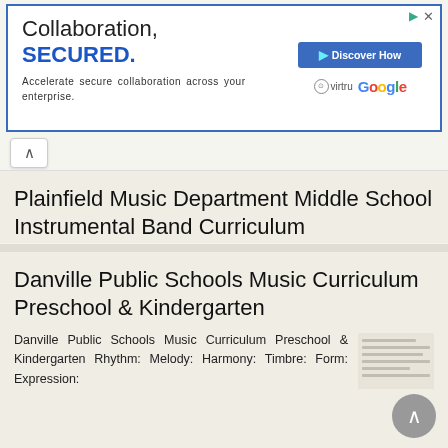[Figure (screenshot): Advertisement banner for Virtru/Google 'Collaboration, SECURED.' with blue border, Discover How button, Virtru and Google logos]
Plainfield Music Department Middle School Instrumental Band Curriculum
Plainfield Music Department Middle School Instrumental Band Curriculum Course Description First Year Band This is a beginning performance-based group that includes all first year instrumentalists. This
More information →
Danville Public Schools Music Curriculum Preschool & Kindergarten
Danville Public Schools Music Curriculum Preschool & Kindergarten Rhythm: Melody: Harmony: Timbre: Form: Expression: